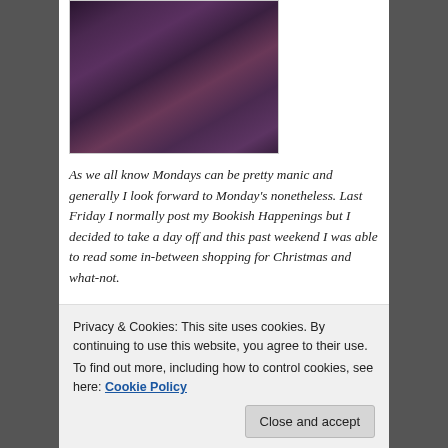[Figure (photo): Partial photo of a person wearing a dark patterned scarf/clothing, cropped at top]
As we all know Mondays can be pretty manic and generally I look forward to Monday's nonetheless. Last Friday I normally post my Bookish Happenings but I decided to take a day off and this past weekend I was able to read some in-between shopping for Christmas and what-not.
I was really hoping to start reading, Roma Amor by Sherry Christie this weekend but I am still working on finishing up another story. I won Sherry Christie's book in
Privacy & Cookies: This site uses cookies. By continuing to use this website, you agree to their use.
To find out more, including how to control cookies, see here: Cookie Policy
Close and accept